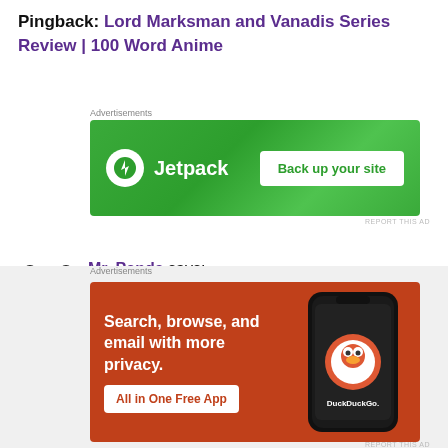Pingback: Lord Marksman and Vanadis Series Review | 100 Word Anime
[Figure (screenshot): Jetpack advertisement banner on green gradient background with 'Back up your site' button]
Mr. Panda says:
April 27, 2017 at 10:06 pm
Haruhi was unexpected, but an excellent choice! I always liked Tenchi from Tenchi Muyo growing up
[Figure (screenshot): DuckDuckGo advertisement: 'Search, browse, and email with more privacy. All in One Free App' on orange background with phone image]